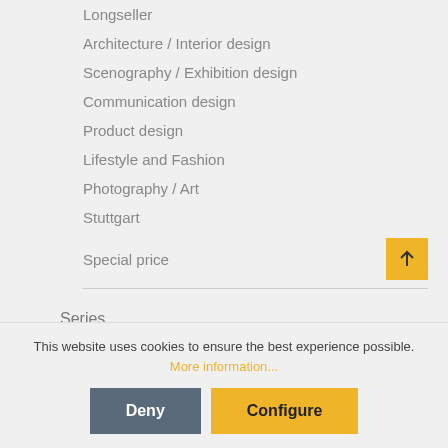Longseller
Architecture / Interior design
Scenography / Exhibition design
Communication design
Product design
Lifestyle and Fashion
Photography / Art
Stuttgart
Special price
Series
This website uses cookies to ensure the best experience possible. More information...